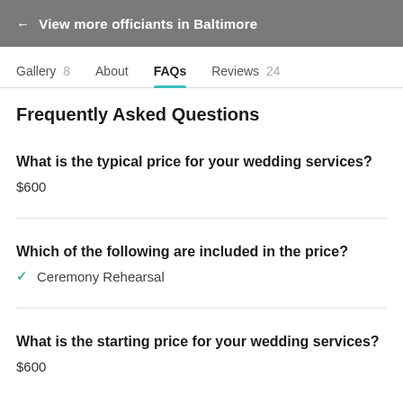← View more officiants in Baltimore
Gallery 8   About   FAQs   Reviews 24
Frequently Asked Questions
What is the typical price for your wedding services?
$600
Which of the following are included in the price?
✓ Ceremony Rehearsal
What is the starting price for your wedding services?
$600